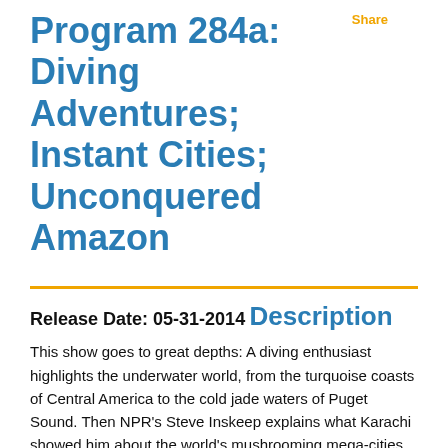Program 284a: Diving Adventures; Instant Cities; Unconquered Amazon
Share
Release Date: 05-31-2014
Description
This show goes to great depths: A diving enthusiast highlights the underwater world, from the turquoise coasts of Central America to the cold jade waters of Puget Sound. Then NPR's Steve Inskeep explains what Karachi showed him about the world's mushrooming mega-cities. And author Scott Wallace describes his trek deep into the Amazon, and the efforts to protect the fierce Arrow people from contact with the outside world.
Guests